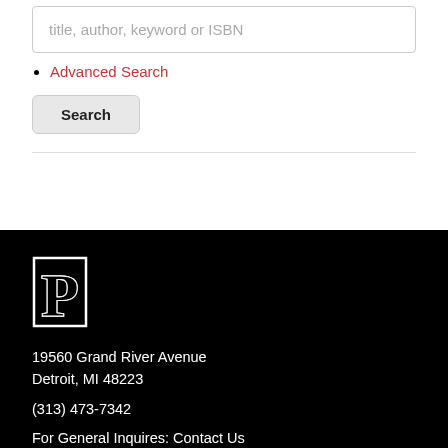title, author, keyword or ISBN
Advanced Search
Search
[Figure (logo): Stylized letter P logo in white on black background, with double-line serif outline style]
19560 Grand River Avenue
Detroit, MI 48223
(313) 473-7342
For General Inquires: Contact Us
For Event Inquiries, visit our Event Requests Page